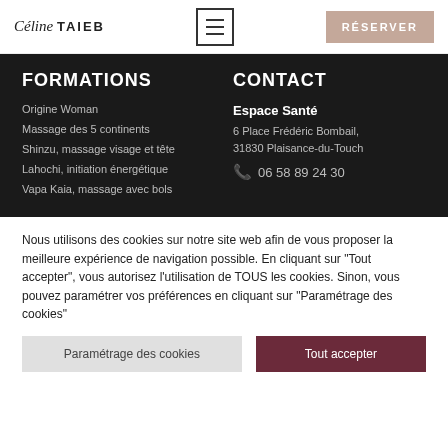Céline TAIEB | Menu | RÉSERVER
FORMATIONS
Origine Woman
Massage des 5 continents
Shinzu, massage visage et tête
Lahochi, initiation énergétique
Vapa Kaia, massage avec bols
CONTACT
Espace Santé
6 Place Frédéric Bombail,
31830 Plaisance-du-Touch
06 58 89 24 30
Nous utilisons des cookies sur notre site web afin de vous proposer la meilleure expérience de navigation possible. En cliquant sur "Tout accepter", vous autorisez l'utilisation de TOUS les cookies. Sinon, vous pouvez paramétrer vos préférences en cliquant sur "Paramétrage des cookies"
Paramétrage des cookies
Tout accepter